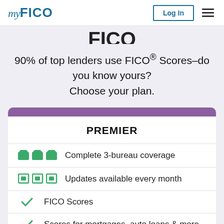myFICO | Log In
90% of top lenders use FICO® Scores–do you know yours? Choose your plan.
PREMIER
Complete 3-bureau coverage
Updates available every month
FICO Scores
Scores for mortgages, auto loans & more